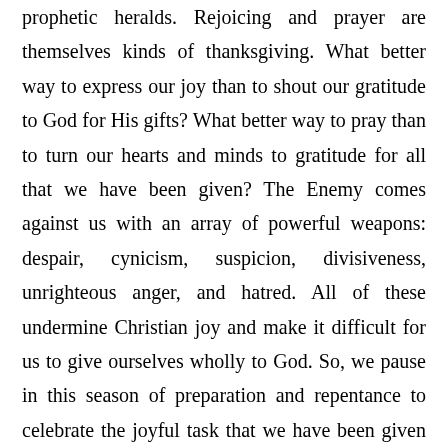prophetic heralds. Rejoicing and prayer are themselves kinds of thanksgiving. What better way to express our joy than to shout our gratitude to God for His gifts? What better way to pray than to turn our hearts and minds to gratitude for all that we have been given? The Enemy comes against us with an array of powerful weapons: despair, cynicism, suspicion, divisiveness, unrighteous anger, and hatred. All of these undermine Christian joy and make it difficult for us to give ourselves wholly to God. So, we pause in this season of preparation and repentance to celebrate the joyful task that we have been given and have received – to proclaim far and wide that Christ Jesus will come again! His mercy is freely given. To sinners his forgiveness is absolutely guaranteed.